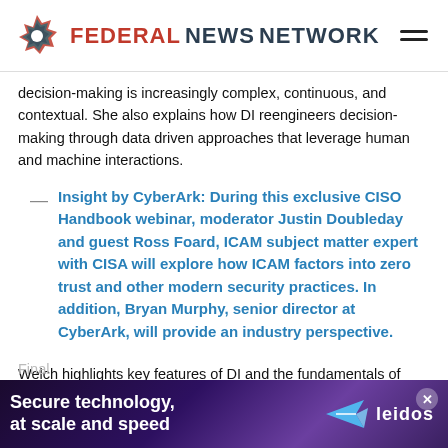Federal News Network
decision-making is increasingly complex, continuous, and contextual. She also explains how DI reengineers decision-making through data driven approaches that leverage human and machine interactions.
Insight by CyberArk: During this exclusive CISO Handbook webinar, moderator Justin Doubleday and guest Ross Foard, ICAM subject matter expert with CISA will explore how ICAM factors into zero trust and other modern security practices. In addition, Bryan Murphy, senior director at CyberArk, will provide an industry perspective.
Welch highlights key features of DI and the fundamentals of sound decision-making in a rapidly changing, interconnected world. As part of the far ranging discussion, she addresses the increasing role artificial intelligence and data analytics are playing
Final
[Figure (other): Leidos advertisement banner: 'Secure technology, at scale and speed' with Leidos logo and paper airplane graphic on dark purple background]